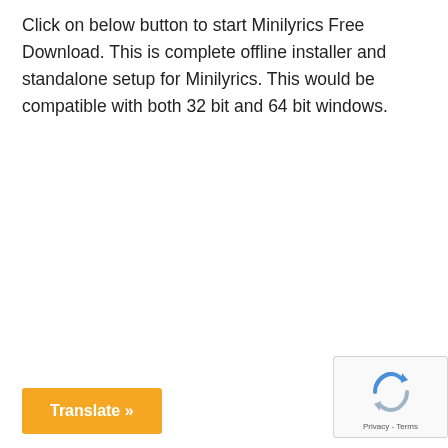Click on below button to start Minilyrics Free Download. This is complete offline installer and standalone setup for Minilyrics. This would be compatible with both 32 bit and 64 bit windows.
[Figure (other): Orange 'Translate »' button at bottom left]
[Figure (other): reCAPTCHA widget box at bottom right showing recycling arrow logo and 'Privacy - Terms' text]